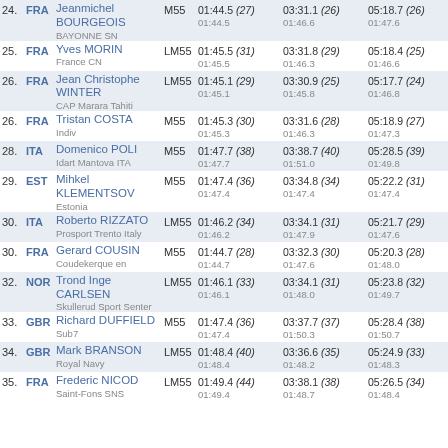| Rank | Nat | Name | Cat | Split1 | Split2 | Split3 |
| --- | --- | --- | --- | --- | --- | --- |
| 24 | FRA | Jeanmichel BOURGEOIS / BAYONNE SN | M55 | 01:44.5 (27) | 03:31.1 (26) | 05:18.7 (26) |
| 25 | FRA | Yves MORIN / France CN | LM55 | 01:45.5 (31) | 03:31.8 (29) | 05:18.4 (25) |
| 26 | FRA | Jean Christophe WINTER / CAP Marara Tahiti | LM55 | 01:45.1 (29) | 03:30.9 (25) | 05:17.7 (24) |
| 26 | FRA | Tristan COSTA / Indiv | M55 | 01:45.3 (30) | 03:31.6 (28) | 05:18.9 (27) |
| 28 | ITA | Domenico POLI / Idart Mantova ITA | M55 | 01:47.7 (38) | 03:38.7 (40) | 05:28.5 (39) |
| 29 | EST | Mihkel KLEMENTSOV / Estonia | M55 | 01:47.4 (36) | 03:34.8 (34) | 05:22.2 (31) |
| 30 | ITA | Roberto RIZZATO / Prosport Trento Italy | LM55 | 01:46.2 (34) | 03:34.1 (31) | 05:21.7 (29) |
| 30 | FRA | Gerard COUSIN / Coudekerque en | M55 | 01:44.7 (28) | 03:32.3 (30) | 05:20.3 (28) |
| 32 | NOR | Trond Inge CARLSEN / Skullerud Sport Senter | LM55 | 01:46.1 (33) | 03:34.1 (31) | 05:23.8 (32) |
| 33 | GBR | Richard DUFFIELD / Sub7 | M55 | 01:47.4 (36) | 03:37.7 (37) | 05:28.4 (38) |
| 34 | GBR | Mark BRANSON / Royal Navy | LM55 | 01:48.4 (40) | 03:36.6 (35) | 05:24.9 (33) |
| 35 | FRA | Frederic NICOD / Saint-Fons SNS | LM55 | 01:49.4 (44) | 03:38.1 (38) | 05:26.5 (34) |